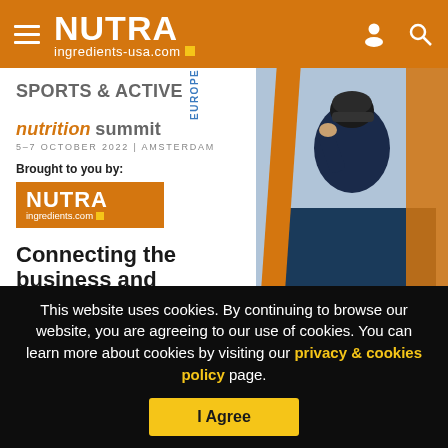NUTRA ingredients-usa.com
[Figure (screenshot): Sports & Active Nutrition Summit Europe event banner with cyclist image, 5-7 October 2022, Amsterdam. Brought to you by NutraIngredients.com. Text: Connecting the business and]
This website uses cookies. By continuing to browse our website, you are agreeing to our use of cookies. You can learn more about cookies by visiting our privacy & cookies policy page.
I Agree